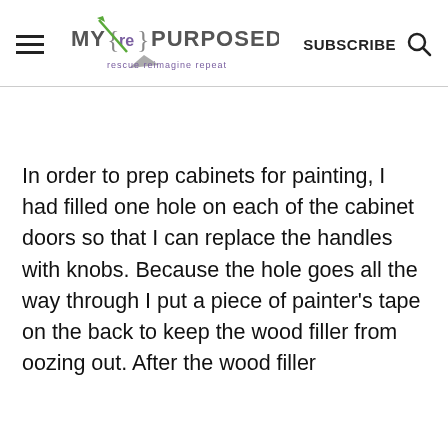MY {re} PURPOSED LIFE rescue reimagine repeat | SUBSCRIBE
In order to prep cabinets for painting, I had filled one hole on each of the cabinet doors so that I can replace the handles with knobs. Because the hole goes all the way through I put a piece of painter’s tape on the back to keep the wood filler from oozing out. After the wood filler